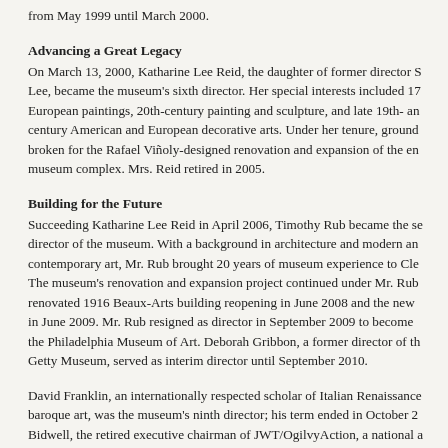from May 1999 until March 2000.
Advancing a Great Legacy
On March 13, 2000, Katharine Lee Reid, the daughter of former director S. Lee, became the museum’s sixth director. Her special interests included 17 European paintings, 20th-century painting and sculpture, and late 19th- an century American and European decorative arts. Under her tenure, ground broken for the Rafael Viñoly-designed renovation and expansion of the en museum complex. Mrs. Reid retired in 2005.
Building for the Future
Succeeding Katharine Lee Reid in April 2006, Timothy Rub became the se director of the museum. With a background in architecture and modern an contemporary art, Mr. Rub brought 20 years of museum experience to Cle The museum’s renovation and expansion project continued under Mr. Rub renovated 1916 Beaux-Arts building reopening in June 2008 and the new in June 2009. Mr. Rub resigned as director in September 2009 to become the Philadelphia Museum of Art. Deborah Gribbon, a former director of th Getty Museum, served as interim director until September 2010.
David Franklin, an internationally respected scholar of Italian Renaissance baroque art, was the museum’s ninth director; his term ended in October 2 Bidwell, the retired executive chairman of JWT/OgilvyAction, a national a agency serving leading brands with more than 500 employees, served as th museum’s interim director.